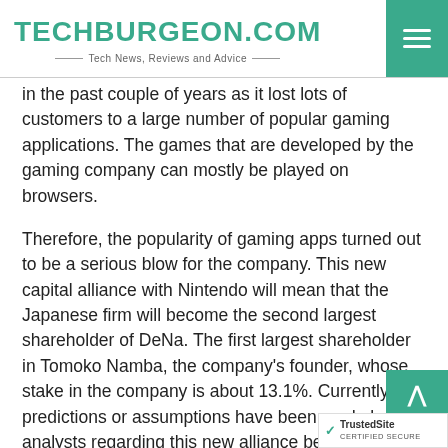TECHBURGEON.COM — Tech News, Reviews and Advice
in the past couple of years as it lost lots of customers to a large number of popular gaming applications. The games that are developed by the gaming company can mostly be played on browsers.
Therefore, the popularity of gaming apps turned out to be a serious blow for the company. This new capital alliance with Nintendo will mean that the Japanese firm will become the second largest shareholder of DeNa. The first largest shareholder in Tomoko Namba, the company's founder, whose stake in the company is about 13.1%. Currently, no predictions or assumptions have been made by analysts regarding this new alliance between the two firms, except for the fact that it is just a